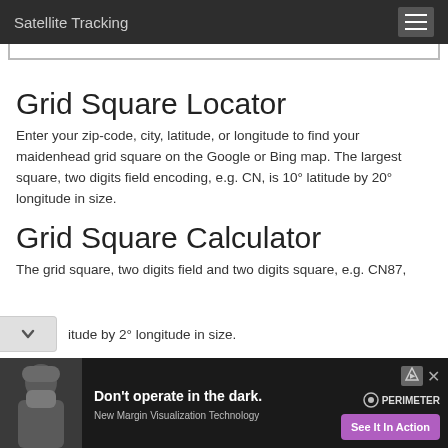Satellite Tracking
Grid Square Locator
Enter your zip-code, city, latitude, or longitude to find your maidenhead grid square on the Google or Bing map. The largest square, two digits field encoding, e.g. CN, is 10° latitude by 20° longitude in size.
Grid Square Calculator
The grid square, two digits field and two digits square, e.g. CN87, …itude by 2° longitude in size.
[Figure (screenshot): Advertisement banner: 'Don't operate in the dark.' with medical professional image, PERIMETER branding, and 'See It In Action' button]